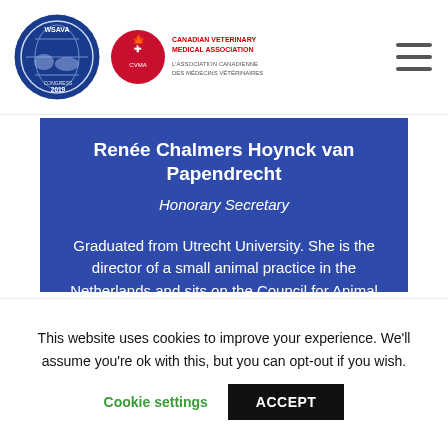[Figure (logo): WSAVA Congress 2019 logo and Canadian Veterinary Medical Association logo]
Renée Chalmers Hoynck van Papendrecht
Honorary Secretary
Graduated from Utrecht University. She is the director of a small animal practice in the Netherlands and sits on the Council for Animal Related affairs for the Governement.
This website uses cookies to improve your experience. We'll assume you're ok with this, but you can opt-out if you wish.
Cookie settings   ACCEPT